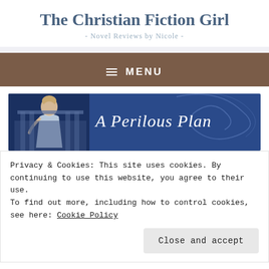The Christian Fiction Girl
- Novel Reviews by Nicole -
≡ MENU
[Figure (illustration): Blue promotional banner for 'A Perilous Plan' showing a blonde woman in a white dress in front of a classical building on the left, and cursive white text 'A Perilous Plan' on the right against a dark blue background with swirling design elements.]
Privacy & Cookies: This site uses cookies. By continuing to use this website, you agree to their use.
To find out more, including how to control cookies, see here: Cookie Policy
Close and accept